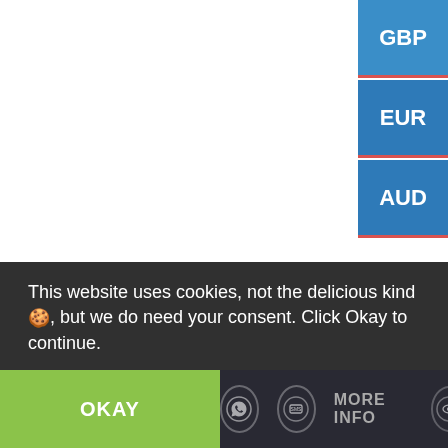[Figure (screenshot): Currency selector buttons (GBP, EUR, AUD) in blue, positioned top-right of the page, partially visible]
This website uses cookies, not the delicious kind🍪, but we do need your consent. Click Okay to continue.
OKAY
MORE INFO